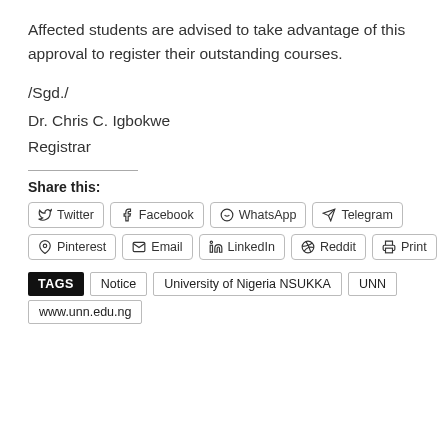Affected students are advised to take advantage of this approval to register their outstanding courses.
/Sgd./
Dr. Chris C. Igbokwe
Registrar
Share this:
Twitter  Facebook  WhatsApp  Telegram
Pinterest  Email  LinkedIn  Reddit  Print
TAGS  Notice  University of Nigeria NSUKKA  UNN  www.unn.edu.ng